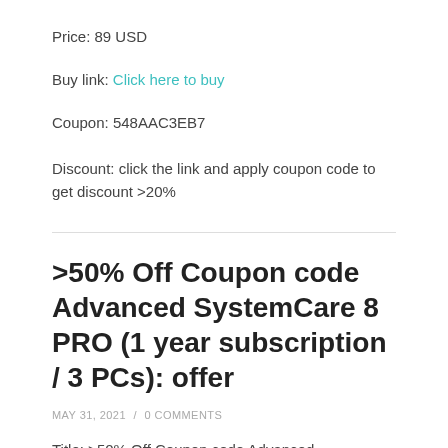Price: 89 USD
Buy link: Click here to buy
Coupon: 548AAC3EB7
Discount: click the link and apply coupon code to get discount >20%
>50% Off Coupon code Advanced SystemCare 8 PRO (1 year subscription / 3 PCs): offer
MAY 31, 2021 / 0 COMMENTS
Title: >50% Off Coupon code Advanced SystemCare 8